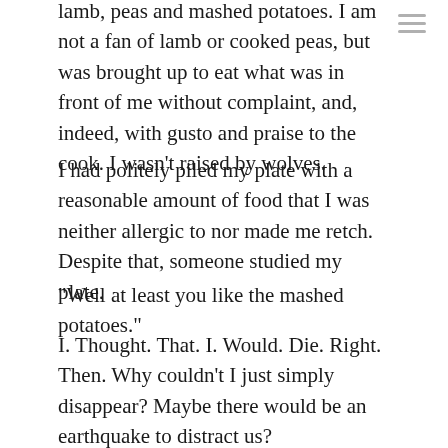lamb, peas and mashed potatoes. I am not a fan of lamb or cooked peas, but was brought up to eat what was in front of me without complaint, and, indeed, with gusto and praise to the cook. I wasn't raised by wolves.
I had politely piled my plate with a reasonable amount of food that I was neither allergic to nor made me retch. Despite that, someone studied my plate.
“Well at least you like the mashed potatoes.”
I. Thought. That. I. Would. Die. Right. Then. Why couldn’t I just simply disappear? Maybe there would be an earthquake to distract us?